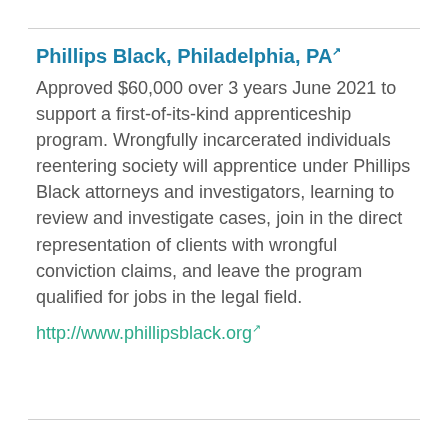Phillips Black, Philadelphia, PA
Approved $60,000 over 3 years June 2021 to support a first-of-its-kind apprenticeship program. Wrongfully incarcerated individuals reentering society will apprentice under Phillips Black attorneys and investigators, learning to review and investigate cases, join in the direct representation of clients with wrongful conviction claims, and leave the program qualified for jobs in the legal field.
http://www.phillipsblack.org